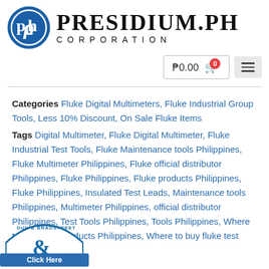[Figure (logo): Presidium.PH Corporation logo with blue circle icon and serif text]
₱0.00 🛒 0
Categories Fluke Digital Multimeters, Fluke Industrial Group Tools, Less 10% Discount, On Sale Fluke Items
Tags Digital Multimeter, Fluke Digital Multimeter, Fluke Industrial Test Tools, Fluke Maintenance tools Philippines, Fluke Multimeter Philippines, Fluke official distributor Philippines, Fluke Philippines, Fluke products Philippines, Fluke Philippines, Insulated Test Leads, Maintenance tools Philippines, Multimeter Philippines, official distributor Philippines, Test Tools Philippines, Tools Philippines, Where to buy fluke products Philippines, Where to buy fluke test tools
[Figure (logo): Dun & Bradstreet badge with Click Here button]